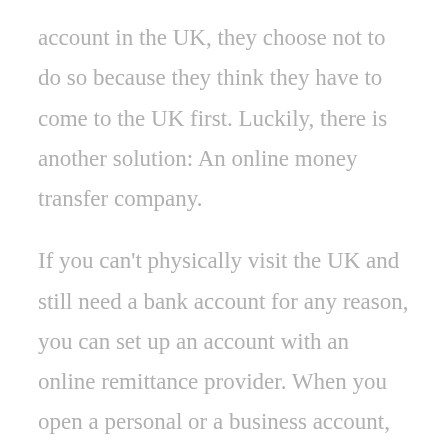account in the UK, they choose not to do so because they think they have to come to the UK first. Luckily, there is another solution: An online money transfer company.
If you can't physically visit the UK and still need a bank account for any reason, you can set up an account with an online remittance provider. When you open a personal or a business account, you'll receive a UK bank account number to easily send and receive money.
A tremendous upside to these providers is they